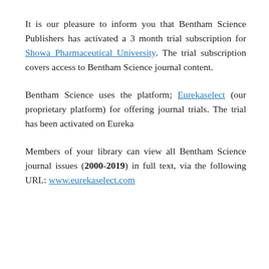It is our pleasure to inform you that Bentham Science Publishers has activated a 3 month trial subscription for Showa Pharmaceutical University. The trial subscription covers access to Bentham Science journal content.
Bentham Science uses the platform; Eurekaselect (our proprietary platform) for offering journal trials. The trial has been activated on Eureka
Members of your library can view all Bentham Science journal issues (2000-2019) in full text, via the following URL: www.eurekaselect.com